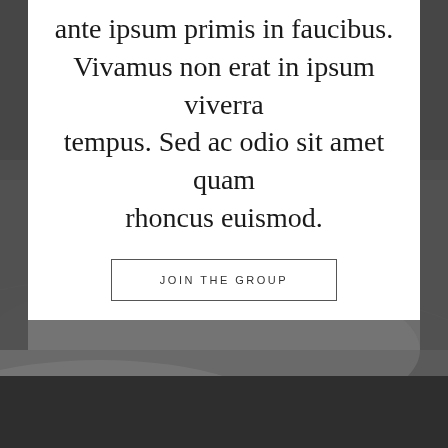ante ipsum primis in faucibus. Vivamus non erat in ipsum viverra tempus. Sed ac odio sit amet quam rhoncus euismod.
JOIN THE GROUP
[Figure (photo): Dark moody black and white photo of a reclining figure with fabric, partially obscured by white content box above]
[Figure (photo): Dark charcoal/dark grey footer area at the bottom of the page]